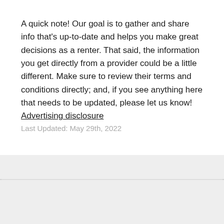A quick note! Our goal is to gather and share info that's up-to-date and helps you make great decisions as a renter. That said, the information you get directly from a provider could be a little different. Make sure to review their terms and conditions directly; and, if you see anything here that needs to be updated, please let us know! Advertising disclosure
Last Updated: May 29th, 2022